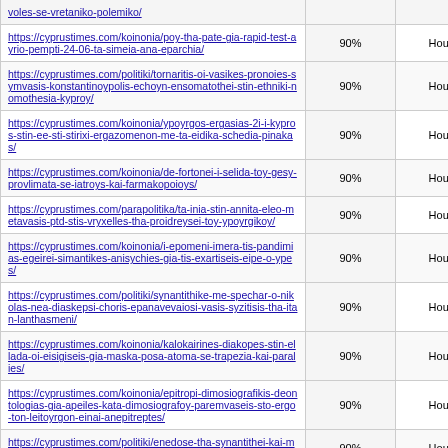| URL | Priority | Change Frequency |
| --- | --- | --- |
| https://cyprustimes.com/koinonia/poy-tha-pate-gia-rapid-test-ayrio-pempti-24-06-ta-simeia-ana-eparchia/ | 90% | Hourly |
| https://cyprustimes.com/politiki/tornaritis-oi-vasikes-pronoies-symvasis-konstantinoypolis-echoyn-ensomatothei-stin-ethniki-nomothesia-kyproy/ | 90% | Hourly |
| https://cyprustimes.com/koinonia/ypoyrgos-ergasias-2i-i-kypros-stin-ee-sti-stirixi-ergazomenon-me-ta-eidika-schedia-pinakas/ | 90% | Hourly |
| https://cyprustimes.com/koinonia/de-fortonei-i-selida-toy-gesy-provlimata-se-iatroys-kai-farmakopoioys/ | 90% | Hourly |
| https://cyprustimes.com/parapolitika/ta-inia-stin-annita-eleo-metavasis-ptd-stis-vryxelles-tha-proidreysei-toy-ypoyrgikoy/ | 90% | Hourly |
| https://cyprustimes.com/koinonia/i-epomeni-imera-tis-pandimias-egeirei-simantikes-anisychies-gia-tis-exartiseis-eipe-o-ypes/ | 90% | Hourly |
| https://cyprustimes.com/politiki/synantithike-me-spechar-o-nikolas-nea-diaskepsi-choris-epanavevaiosi-vasis-syzitisis-tha-itan-lanthasmeni/ | 90% | Hourly |
| https://cyprustimes.com/koinonia/kalokairines-diakopes-stin-ellada-oi-eisigiseis-gia-maska-posa-atoma-se-trapezia-kai-paralies/ | 90% | Hourly |
| https://cyprustimes.com/koinonia/epitropi-dimosiografikis-deontologias-gia-apeiles-kata-dimosiografoy-paremvaseis-sto-ergo-ton-leitoyrgon-einai-anepitreptes/ | 90% | Hourly |
| https://cyprustimes.com/politiki/enedose-tha-synantithei-kai-me-tatar-o-gkoyteres-stis-vryxelles/ | 90% | Hourly |
| https://cyprustimes.com/kosmos/iaponia-ochi-apo-to-apotato- | 90% | Hourly |